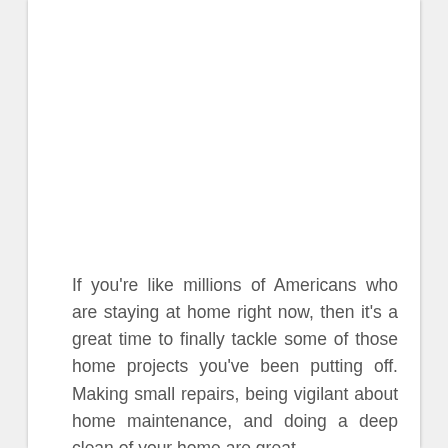If you're like millions of Americans who are staying at home right now, then it's a great time to finally tackle some of those home projects you've been putting off. Making small repairs, being vigilant about home maintenance, and doing a deep clean of your home are great